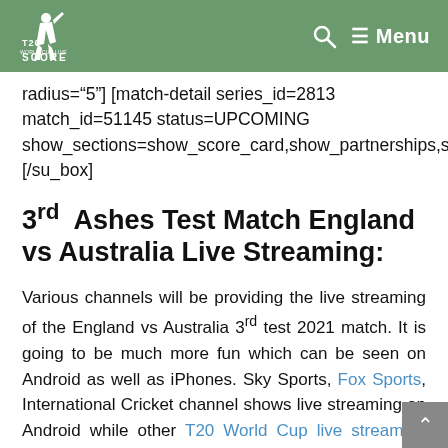T20 World Cup Live Score — Menu
radius="5"] [match-detail series_id=2813 match_id=51145 status=UPCOMING show_sections=show_score_card,show_partnerships,show_teams,show_commentary][/su_box]
3rd Ashes Test Match England vs Australia Live Streaming:
Various channels will be providing the live streaming of the England vs Australia 3rd test 2021 match. It is going to be much more fun which can be seen on Android as well as iPhones. Sky Sports, Fox Sports, International Cricket channel shows live streaming on Android while other T20 World Cup live streaming channels